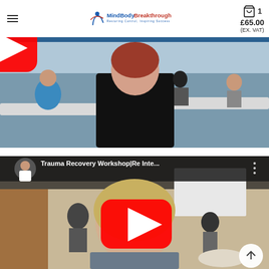MindBody Breakthrough — Restoring Control, Inspiring Success | Cart: 1 item £65.00 (EX. VAT)
[Figure (screenshot): YouTube video thumbnail showing a workshop scene with a woman in foreground, participants seated at tables in a conference room. A red YouTube play button overlay is centered on the image.]
[Figure (screenshot): YouTube video thumbnail with title 'Trauma Recovery Workshop|Re Inte...' showing a woman in foreground, workshop room visible in background with projector screen. Red YouTube play button overlay is centered. A scroll-to-top button is visible in the bottom right.]